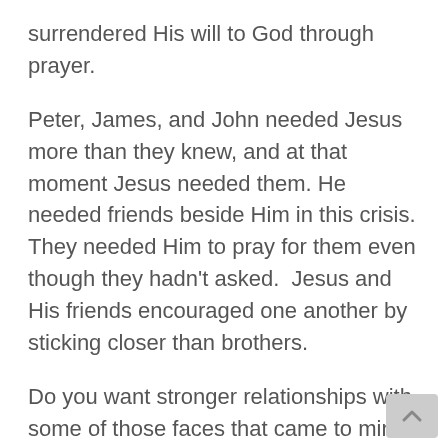surrendered His will to God through prayer.
Peter, James, and John needed Jesus more than they knew, and at that moment Jesus needed them. He needed friends beside Him in this crisis. They needed Him to pray for them even though they hadn't asked.  Jesus and His friends encouraged one another by sticking closer than brothers.
Do you want stronger relationships with some of those faces that came to mind earlier? Give a little. Take a little. Serve them, and let them serve you. Wait patiently. Our spirits are willing, but our flesh is weak, so pray for them, and let them pray for you.